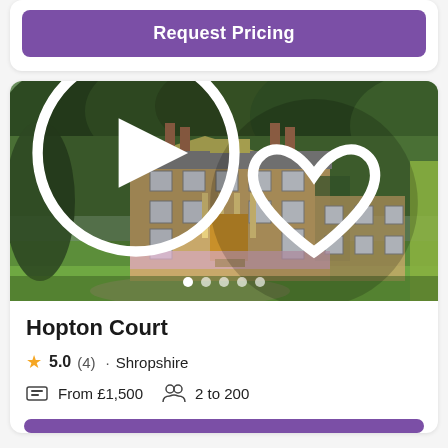[Figure (other): Purple 'Request Pricing' button at the top of the page, partially visible]
[Figure (photo): Exterior photo of Hopton Court, a Georgian manor house in Shropshire with yellow-ochre stone facade, surrounded by green lawns, flowering garden borders, and dense woodland in background. Image carousel with 5 dots and a play button visible.]
Hopton Court
5.0 (4) · Shropshire
From £1,500   2 to 200